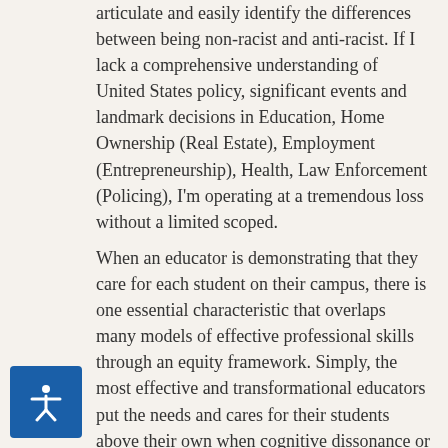articulate and easily identify the differences between being non-racist and anti-racist. If I lack a comprehensive understanding of United States policy, significant events and landmark decisions in Education, Home Ownership (Real Estate), Employment (Entrepreneurship), Health, Law Enforcement (Policing), I'm operating at a tremendous loss without a limited scoped.
When an educator is demonstrating that they care for each student on their campus, there is one essential characteristic that overlaps many models of effective professional skills through an equity framework. Simply, the most effective and transformational educators put the needs and cares for their students above their own when cognitive dissonance or intensity arises. If the reader is honest with oneself, does this prioritization of care affirm your past practice or challenge it to pivot? This is not a question that draws a line of judgment, but a pathway for those of us that realize every interaction with students leaves an